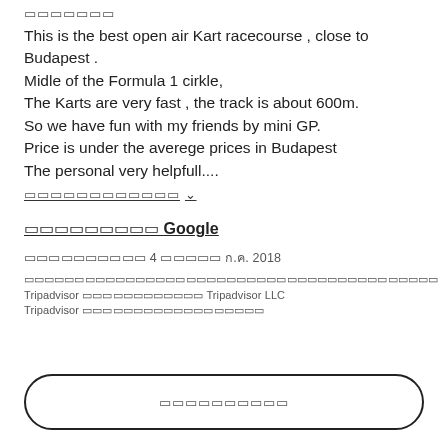▭▭▭▭▭▭▭ (rating stars)
This is the best open air Kart racecourse , close to Budapest .
Middle of the Formula 1 cirkle,
The Karts are very fast , the track is about 600m.
So we have fun with my friends by mini GP.
Price is under the averege prices in Budapest
The personal very helpfull....
▭▭▭▭▭▭▭▭▭▭▭▭ ∨
▭▭▭▭▭▭▭▭▭ Google
▭▭▭▭▭▭▭▭▭▭ 4 ▭▭▭▭▭ ก.ค. 2018
▭▭▭▭▭▭▭▭▭▭▭▭▭▭▭▭▭▭▭▭▭▭▭▭▭▭▭▭▭▭ Tripadvisor ▭▭▭▭▭▭▭▭▭▭▭ Tripadvisor LLC Tripadvisor ▭▭▭▭▭▭▭▭▭▭▭▭▭▭▭▭▭▭
▭▭▭▭▭▭▭▭▭▭ (button)